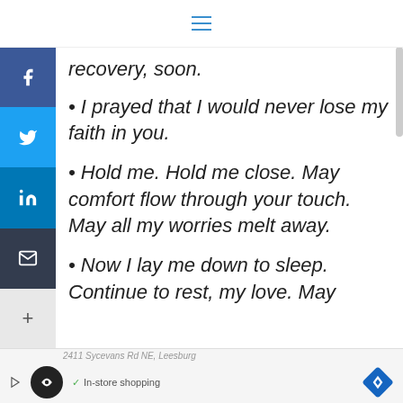≡ (hamburger menu icon)
recovery, soon.
• I prayed that I would never lose my faith in you.
• Hold me. Hold me close. May comfort flow through your touch. May all my worries melt away.
• Now I lay me down to sleep. Continue to rest, my love. May
[Figure (screenshot): Mobile web page screenshot showing social sharing sidebar (Facebook, Twitter, LinkedIn, Email, More) on the left, a hamburger menu at the top, and an advertisement banner at the bottom showing a map/navigation ad for '2411 Sycevans Rd NE, Leesburg' with In-store shopping.]